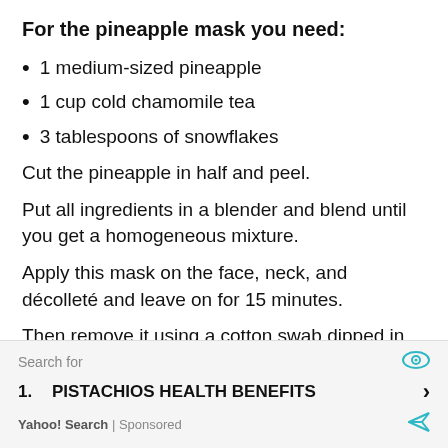For the pineapple mask you need:
1 medium-sized pineapple
1 cup cold chamomile tea
3 tablespoons of snowflakes
Cut the pineapple in half and peel.
Put all ingredients in a blender and blend until you get a homogeneous mixture.
Apply this mask on the face, neck, and décolleté and leave on for 15 minutes.
Then remove it using a cotton swab dipped in
Search for
PISTACHIOS HEALTH BENEFITS
Yahoo! Search | Sponsored